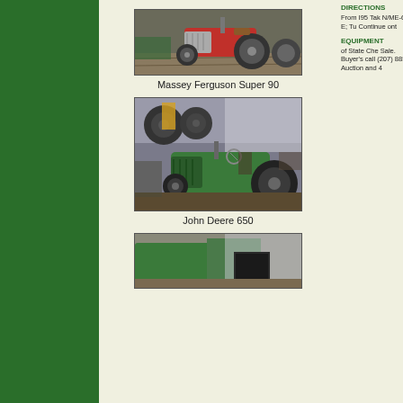[Figure (photo): Massey Ferguson Super 90 tractor inside a barn/shed]
Massey Ferguson Super 90
[Figure (photo): John Deere 650 tractor photographed at an angle inside a building]
John Deere 650
[Figure (photo): Partial view of a green tractor or equipment, partially visible at bottom of page]
DIRECTIONS
From I95 Tak N/ME-6 E; Tu Continue ont
EQUIPMENT
of State Che Sale. Buyer's call (207) 885 Auction and 4